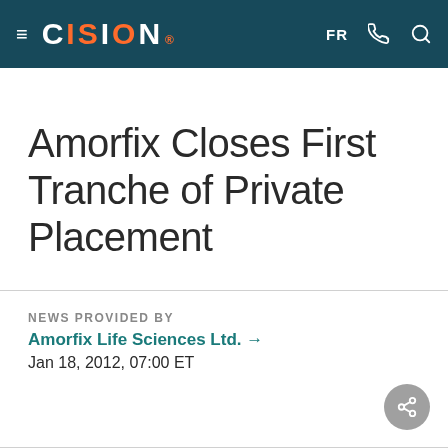CISION — FR
Amorfix Closes First Tranche of Private Placement
NEWS PROVIDED BY
Amorfix Life Sciences Ltd. →
Jan 18, 2012, 07:00 ET